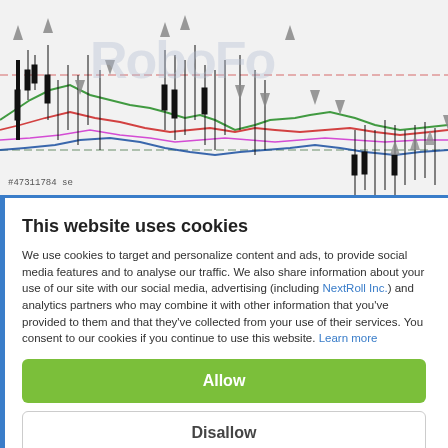[Figure (continuous-plot): A financial candlestick chart with multiple moving average lines (green, red, blue, magenta) and arrow indicators pointing up and down. A watermark reading 'RoboFo' is visible in the background. There is a label '#47311784 se' at the bottom left. Two horizontal dashed lines (red and green) span across the chart.]
This website uses cookies
We use cookies to target and personalize content and ads, to provide social media features and to analyse our traffic. We also share information about your use of our site with our social media, advertising (including NextRoll Inc.) and analytics partners who may combine it with other information that you've provided to them and that they've collected from your use of their services. You consent to our cookies if you continue to use this website. Learn more
Allow
Disallow